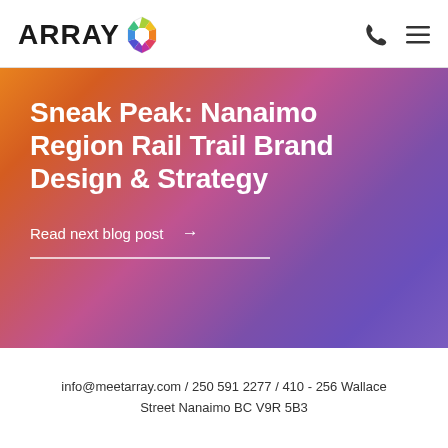[Figure (logo): ARRAY company logo with colorful geometric circular icon]
Sneak Peak: Nanaimo Region Rail Trail Brand Design & Strategy
Read next blog post →
info@meetarray.com / 250 591 2277 / 410 - 256 Wallace Street Nanaimo BC V9R 5B3